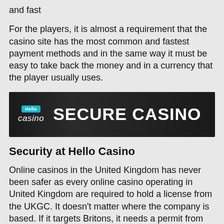and fast
For the players, it is almost a requirement that the casino site has the most common and fastest payment methods and in the same way it must be easy to take back the money and in a currency that the player usually uses.
[Figure (logo): Hello Casino banner with logo on left and 'SECURE CASINO' text on right, dark background]
Security at Hello Casino
Online casinos in the United Kingdom has never been safer as every online casino operating in United Kingdom are required to hold a license from the UKGC. It doesn’t matter where the company is based. If it targets Britons, it needs a permit from the UKGC.